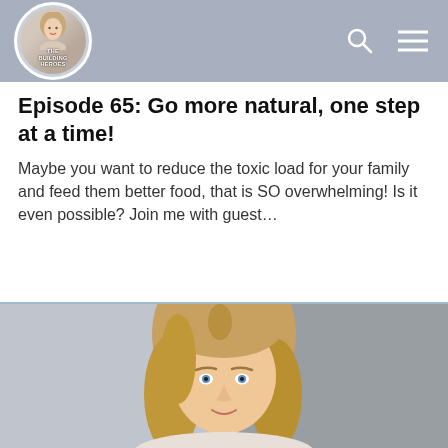[Figure (logo): The Building Heroes podcast logo — circular logo with a woman's face and text 'THE BUILDING HEROES' overlaid, set in a navigation bar with blue-grey background, search icon and hamburger menu on the right]
Episode 65: Go more natural, one step at a time!
Maybe you want to reduce the toxic load for your family and feed them better food, that is SO overwhelming! Is it even possible? Join me with guest...
[Figure (photo): Portrait photo of a blonde woman with blue eyes looking at the camera, blurred background]